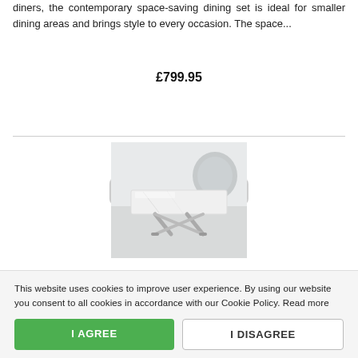diners, the contemporary space-saving dining set is ideal for smaller dining areas and brings style to every occasion. The space...
£799.95
More Information
[Figure (photo): Product photo of a white marble dining table with chrome cross-base legs, shown in a modern room setting.]
This website uses cookies to improve user experience. By using our website you consent to all cookies in accordance with our Cookie Policy. Read more
I AGREE
I DISAGREE